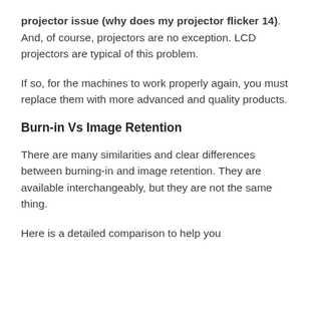projector issue (why does my projector flicker 14). And, of course, projectors are no exception. LCD projectors are typical of this problem.
If so, for the machines to work properly again, you must replace them with more advanced and quality products.
Burn-in Vs Image Retention
There are many similarities and clear differences between burning-in and image retention. They are available interchangeably, but they are not the same thing.
Here is a detailed comparison to help you